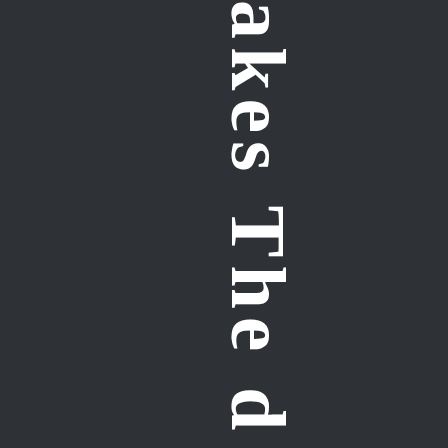[Figure (other): Dark background page showing large white serif bold text characters arranged vertically in the center-right area of the image. The text appears to read partial characters: 'a', 'ke', 's', 'To', 'h', 'e', 'd' stacked vertically in a rotated/vertical writing orientation, suggesting the words 'takes The' or similar rotated text on a dark charcoal background.]